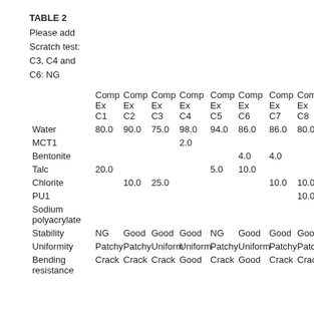TABLE 2
Please add Scratch test: C3, C4 and C6: NG
|  | Comp Ex C1 | Comp Ex C2 | Comp Ex C3 | Comp Ex C4 | Comp Ex C5 | Comp Ex C6 | Comp Ex C7 | Comp Ex C8 |
| --- | --- | --- | --- | --- | --- | --- | --- | --- |
| Water | 80.0 | 90.0 | 75.0 | 98.0 | 94.0 | 86.0 | 86.0 | 80.0 |
| MCT1 |  |  |  | 2.0 |  |  |  |  |
| Bentonite |  |  |  |  |  | 4.0 | 4.0 |  |
| Talc | 20.0 |  |  |  | 5.0 | 10.0 |  |  |
| Chlorite |  | 10.0 | 25.0 |  |  |  | 10.0 | 10.0 |
| PU1 |  |  |  |  |  |  |  | 10.0 |
| Sodium polyacrylate |  |  |  |  |  |  |  |  |
| Stability | NG | Good | Good | Good | NG | Good | Good | Good |
| Uniformity | Patchy | Patchy | Uniform | Uniform | Patchy | Uniform | Patchy | Patchy |
| Bending resistance | Crack | Crack | Crack | Good | Crack | Good | Crack | Crack |